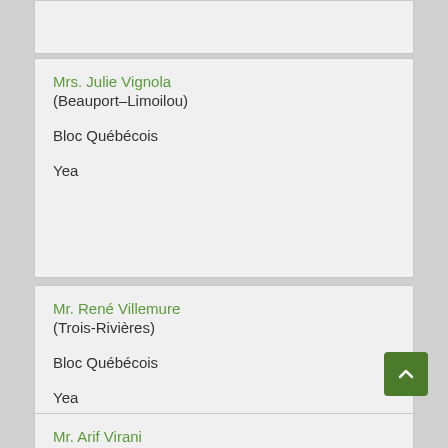Mrs. Julie Vignola
(Beauport–Limoilou)

Bloc Québécois

Yea
Mr. René Villemure
(Trois-Rivières)

Bloc Québécois

Yea
Mr. Arif Virani